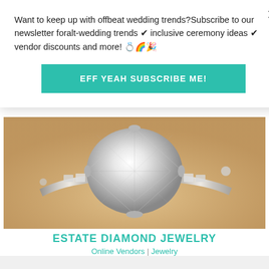Want to keep up with offbeat wedding trends?Subscribe to our newsletter for⁠alt-wedding trends ✔ inclusive ceremony ideas ✔ vendor discounts and more! 💍🌈🎉
[Figure (other): Teal/green 'EFF YEAH SUBSCRIBE ME!' subscription button]
[Figure (photo): Close-up photo of a diamond engagement ring with large round brilliant center stone set in silver/platinum band with channel-set side stones, on a warm beige surface]
ESTATE DIAMOND JEWELRY
Online Vendors | Jewelry